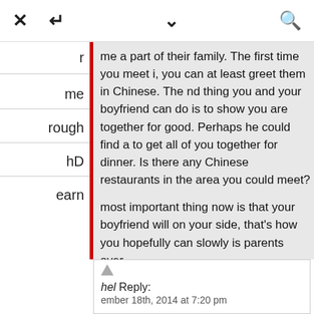[Figure (screenshot): Mobile browser toolbar with X (close), reply/forward arrow, chevron down, and search icons]
me a part of their family. The first time you meet i, you can at least greet them in Chinese. The nd thing you and your boyfriend can do is to show you are together for good. Perhaps he could find a to get all of you together for dinner. Is there any Chinese restaurants in the area you could meet?

most important thing now is that your boyfriend will on your side, that's how you hopefully can slowly is parents over.
ly]
hel Reply:
ember 18th, 2014 at 7:20 pm